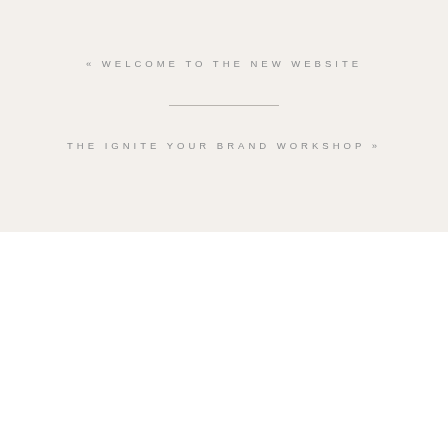« WELCOME TO THE NEW WEBSITE
THE IGNITE YOUR BRAND WORKSHOP »
Popular Posts